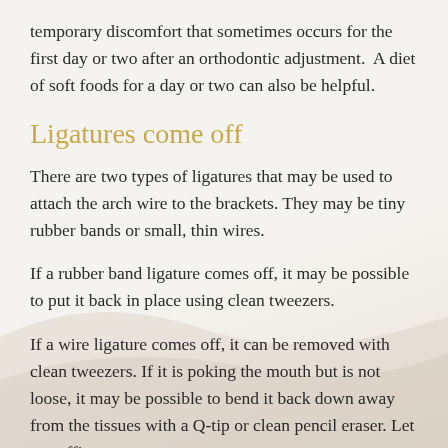temporary discomfort that sometimes occurs for the first day or two after an orthodontic adjustment.  A diet of soft foods for a day or two can also be helpful.
Ligatures come off
There are two types of ligatures that may be used to attach the arch wire to the brackets. They may be tiny rubber bands or small, thin wires.
If a rubber band ligature comes off, it may be possible to put it back in place using clean tweezers.
If a wire ligature comes off, it can be removed with clean tweezers. If it is poking the mouth but is not loose, it may be possible to bend it back down away from the tissues with a Q-tip or clean pencil eraser. Let our office